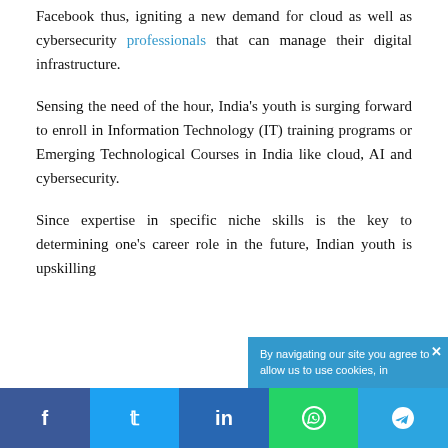Facebook thus, igniting a new demand for cloud as well as cybersecurity professionals that can manage their digital infrastructure.
Sensing the need of the hour, India's youth is surging forward to enroll in Information Technology (IT) training programs or Emerging Technological Courses in India like cloud, AI and cybersecurity.
Since expertise in specific niche skills is the key to determining one's career role in the future, Indian youth is upskilling
By navigating our site you agree to allow us to use cookies, in
f  t  in  (WhatsApp)  (Telegram)